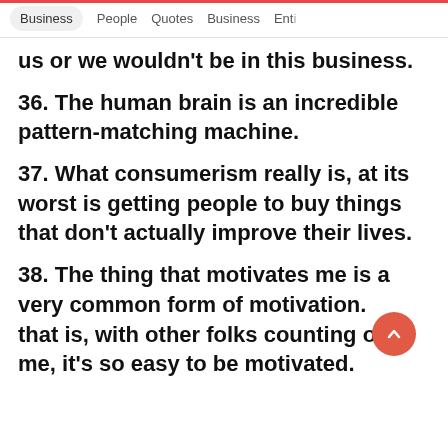Business  People  Quotes  Business  Ent…
us or we wouldn't be in this business.
36. The human brain is an incredible pattern-matching machine.
37. What consumerism really is, at its worst is getting people to buy things that don't actually improve their lives.
38. The thing that motivates me is a very common form of motivation. And that is, with other folks counting on me, it's so easy to be motivated.